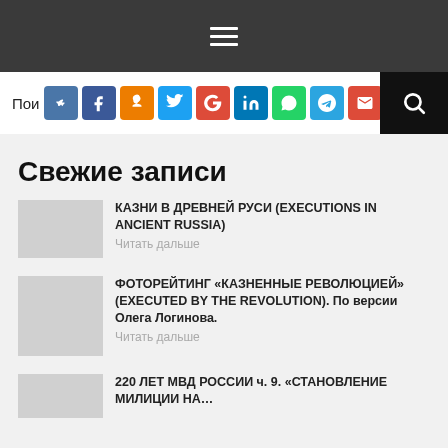Navigation bar with hamburger menu
Поиск. Social share icons: VK, Facebook, OK, Twitter, Google+, LinkedIn, WhatsApp, Telegram, Email. Search button.
Свежие записи
КАЗНИ В ДРЕВНЕЙ РУСИ (EXECUTIONS IN ANCIENT RUSSIA)
Читать дальше
ФОТОРЕЙТИНГ «КАЗНЕННЫЕ РЕВОЛЮЦИЕЙ» (EXECUTED BY THE REVOLUTION). По версии Олега Логинова.
Читать дальше
220 ЛЕТ МВД РОССИИ ч. 9. «СТАНОВЛЕНИЕ МИЛИЦИИ НА…